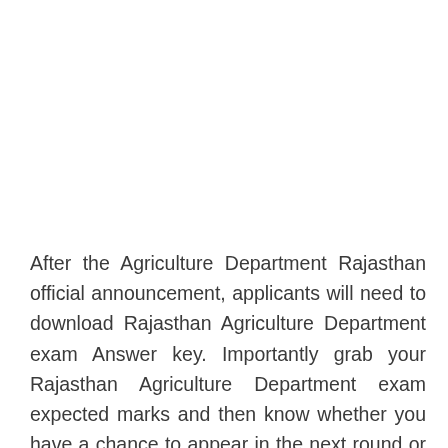After the Agriculture Department Rajasthan official announcement, applicants will need to download Rajasthan Agriculture Department exam Answer key. Importantly grab your Rajasthan Agriculture Department exam expected marks and then know whether you have a chance to appear in the next round or not?